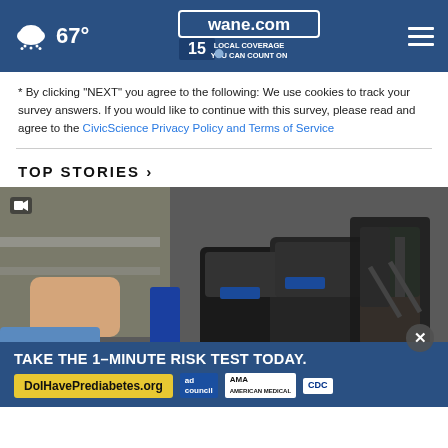wane.com 15 LOCAL COVERAGE YOU CAN COUNT ON | 67°
* By clicking "NEXT" you agree to the following: We use cookies to track your survey answers. If you would like to continue with this survey, please read and agree to the CivicScience Privacy Policy and Terms of Service
TOP STORIES ›
[Figure (photo): Photo of people working on a power wheelchair/motorized wheelchair in a workshop setting. Blue wheelchair frame visible, black seat cushions, mechanical components.]
TAKE THE 1-MINUTE RISK TEST TODAY. DoIHavePrediabetes.org